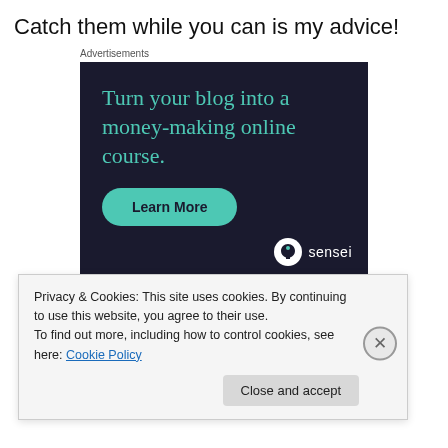Catch them while you can is my advice!
Advertisements
[Figure (illustration): Advertisement banner with dark navy background. Headline in teal: 'Turn your blog into a money-making online course.' A teal rounded 'Learn More' button. Sensei brand logo and name in bottom right.]
Privacy & Cookies: This site uses cookies. By continuing to use this website, you agree to their use.
To find out more, including how to control cookies, see here: Cookie Policy
Close and accept